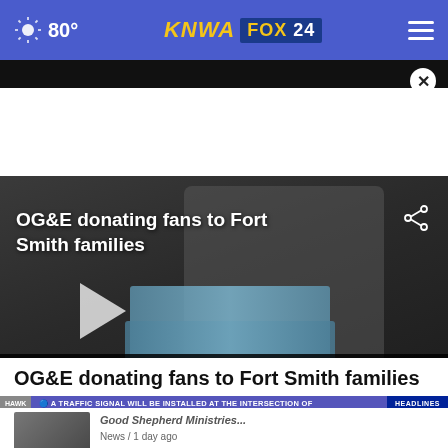80° KNWA FOX24
[Figure (screenshot): News video thumbnail showing a man carrying Lasko fan boxes. Lower thirds show: 'OG&E AND SALVATION ARMY PARTNER TO PROVIDE FANS / FORT SMITH' and ticker 'A TRAFFIC SIGNAL WILL BE INSTALLED AT THE INTERSECTION OF' with HEADLINES label. Video title overlay reads 'OG&E donating fans to Fort Smith families'. Time shown 5:05 / 92. #NWAnews KNWA bug displayed.]
OG&E donating fans to Fort Smith families
[Figure (photo): Small thumbnail image of a related news story]
Good Shepherd Ministries...
News / 1 day ago